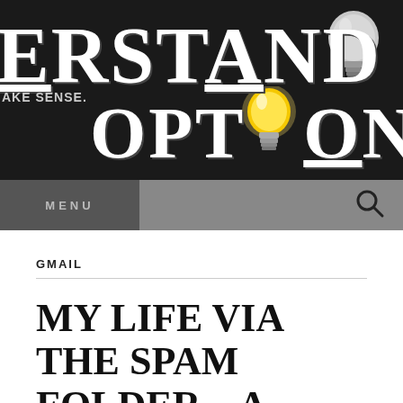[Figure (screenshot): Website header banner with dark/black background showing large white serif text 'erstanding' on top row and 'OPTIONS' on bottom row with two lightbulb icons (one grey top-right, one yellow/lit center), and tagline 'ake sense.' in small text on the left side.]
MENU
GMAIL
MY LIFE VIA THE SPAM FOLDER – A